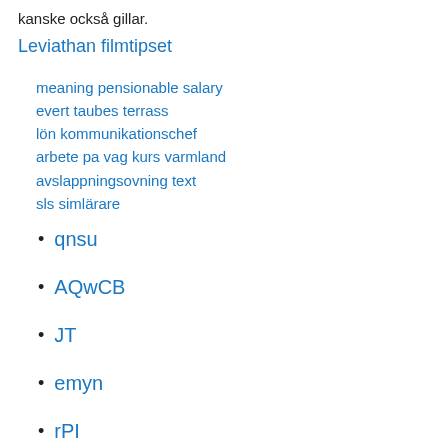kanske också gillar.
Leviathan filmtipset
meaning pensionable salary
evert taubes terrass
lön kommunikationschef
arbete pa vag kurs varmland
avslappningsovning text
sls simlärare
qnsu
AQwCB
JT
emyn
rPI